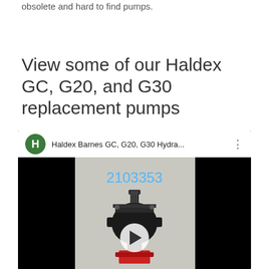obsolete and hard to find pumps.
View some of our Haldex GC, G20, and G30 replacement pumps
[Figure (screenshot): YouTube video embed showing a Haldex Barnes GC, G20, G30 hydraulic pump video. Header shows green H channel icon and title 'Haldex Barnes GC, G20, G30 Hydra...'. Thumbnail shows a black hydraulic pump with text '2103353' in blue and a play button overlay.]